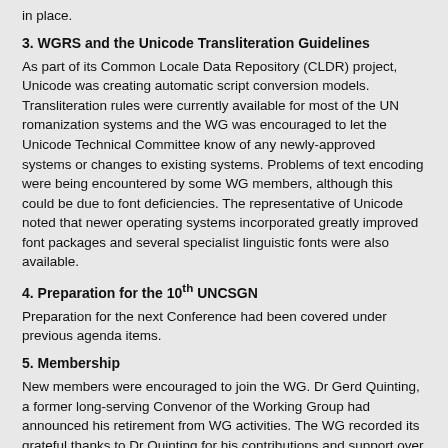in place.
3. WGRS and the Unicode Transliteration Guidelines
As part of its Common Locale Data Repository (CLDR) project, Unicode was creating automatic script conversion models. Transliteration rules were currently available for most of the UN romanization systems and the WG was encouraged to let the Unicode Technical Committee know of any newly-approved systems or changes to existing systems. Problems of text encoding were being encountered by some WG members, although this could be due to font deficiencies. The representative of Unicode noted that newer operating systems incorporated greatly improved font packages and several specialist linguistic fonts were also available.
4. Preparation for the 10th UNCSGN
Preparation for the next Conference had been covered under previous agenda items.
5. Membership
New members were encouraged to join the WG. Dr Gerd Quinting, a former long-serving Convenor of the Working Group had announced his retirement from WG activities. The WG recorded its grateful thanks to Dr Quinting for his contributions and support over the years.
6. Any other business
The Convenor would continue to circulate WG-related items by email.